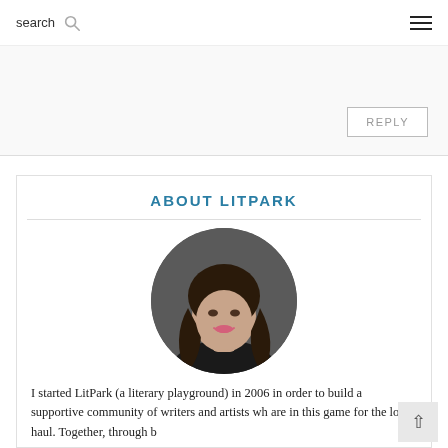search  ☰
REPLY
ABOUT LITPARK
[Figure (photo): Circular portrait photo of a woman with long dark wavy hair, smiling slightly, against a dark grey background.]
I started LitPark (a literary playground) in 2006 in order to build a supportive community of writers and artists wh are in this game for the long haul. Together, through b